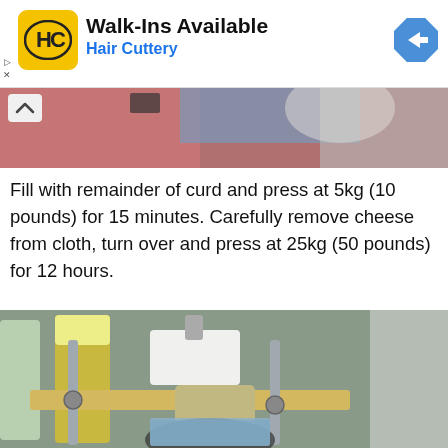[Figure (infographic): Hair Cuttery advertisement banner with logo (HC in yellow square), text 'Walk-Ins Available / Hair Cuttery', and a blue navigation arrow icon]
[Figure (photo): Partial photo of cheese-making materials showing pink and blue cloth with cheese mold, with chevron/collapse button]
Fill with remainder of curd and press at 5kg (10 pounds) for 15 minutes. Carefully remove cheese from cloth, turn over and press at 25kg (50 pounds) for 12 hours.
[Figure (photo): Photo of a homemade cheese press made of wood and metal bolts, with a white block pressing down on cheese in a mold, surrounded by bottles and household items]